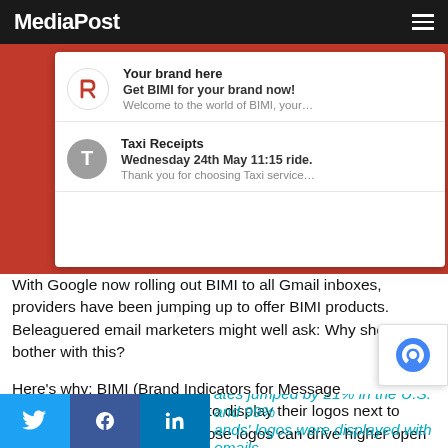MediaPost
[Figure (screenshot): Email inbox screenshot showing BIMI brand logo display: 'Your brand here - Get BIMI for your brand now! Welcome to the world of BIMI, your...' and 'Taxi Receipts - Wednesday 24th May 11:15 ride. Thank you for choosing Taxi service...']
With Google now rolling out BIMI to all Gmail inboxes, providers have been jumping up to offer BIMI products. Beleaguered email marketers might well ask: Why should we bother with this?
Here's why: BIMI (Brand Indicators for Message Identification) allows brands to display their logos next to authenticated emails. And those logos can drive higher open rates while driving consumer trust, judging by Consumer Interaction with Visual Brands in Email, a study by Red Sift and Entrust.
rates jumped by 21% in the U.S. and 39% ands' logos were displayed with emails...